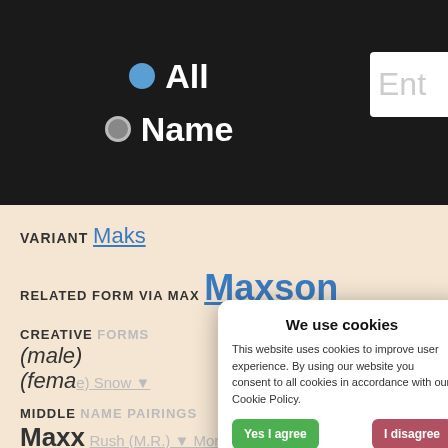[Figure (screenshot): Website UI screenshot showing radio buttons labeled All and Name against a dark background, with a partially visible text input labeled Ent]
VARIANT Maks
RELATED FORM VIA MAX Maxson
CREATIVE FORMS (male) (female)
MIDDLE NAME PAIRINGS Maxx Rush (M.R.) More
We use cookies
This website uses cookies to improve user experience. By using our website you consent to all cookies in accordance with our Cookie Policy.
Yes I agree  I disagree
Read more
Free cookie consent by cookie-script.com